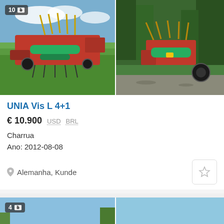[Figure (photo): Red UNIA Vis L 4+1 agricultural plow machine on green field, with photo count badge showing 10]
[Figure (photo): Red and green UNIA agricultural equipment close-up on gravel/trees background]
UNIA Vis L 4+1
€ 10.900  USD  BRL
Charrua
Ano: 2012-08-08
Alemanha, Kunde
[Figure (photo): Agricultural plow equipment on green field, with photo count badge showing 4]
[Figure (photo): Red agricultural multi-row seeder/planter on green field]